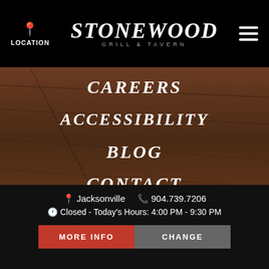LOCATION | STONEWOOD GRILL & TAVERN | [menu icon]
CAREERS
ACCESSIBILITY
BLOG
CONTACT
[Figure (logo): Stonewood Grill & Tavern large white logo on wood-textured dark background]
📍 Jacksonville  📞 904.739.7206  🕐 Closed - Today's Hours: 4:00 PM - 9:30 PM  MORE INFO  CHANGE